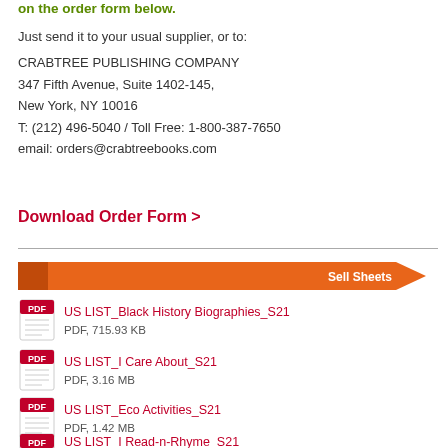You can choose your book titles and enter quantities directly on the order form below.
Just send it to your usual supplier, or to:
CRABTREE PUBLISHING COMPANY
347 Fifth Avenue, Suite 1402-145,
New York, NY 10016
T: (212) 496-5040 / Toll Free: 1-800-387-7650
email: orders@crabtreebooks.com
Download Order Form >
[Figure (infographic): Orange arrow banner with text 'Sell Sheets']
US LIST_Black History Biographies_S21
PDF, 715.93 KB
US LIST_I Care About_S21
PDF, 3.16 MB
US LIST_Eco Activities_S21
PDF, 1.42 MB
US LIST_I Read-n-Rhyme_S21
PDF, 1.46 MB